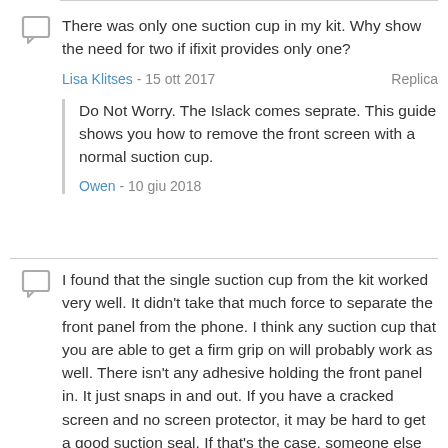There was only one suction cup in my kit. Why show the need for two if ifixit provides only one?
Lisa Klitses - 15 ott 2017  Replica
Do Not Worry. The Islack comes seprate. This guide shows you how to remove the front screen with a normal suction cup.
Owen - 10 giu 2018
I found that the single suction cup from the kit worked very well. It didn't take that much force to separate the front panel from the phone. I think any suction cup that you are able to get a firm grip on will probably work as well. There isn't any adhesive holding the front panel in. It just snaps in and out. If you have a cracked screen and no screen protector, it may be hard to get a good suction seal. If that's the case, someone else here